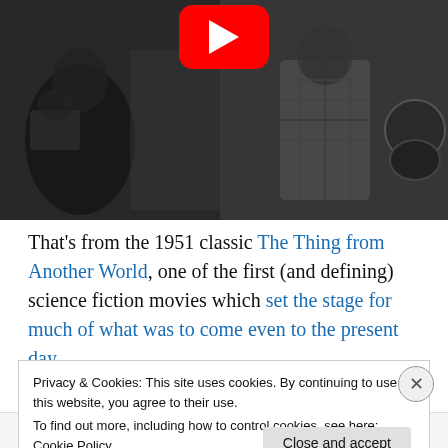[Figure (screenshot): Black and white film still with YouTube play button overlay, showing musicians or actors from what appears to be a 1950s film scene.]
That's from the 1951 classic The Thing from Another World, one of the first (and defining) science fiction movies which set the stage for much of what was to come even to the present day.
It was also very much a product of the early Cold War era,
Privacy & Cookies: This site uses cookies. By continuing to use this website, you agree to their use.
To find out more, including how to control cookies, see here: Cookie Policy
Close and accept
Follow